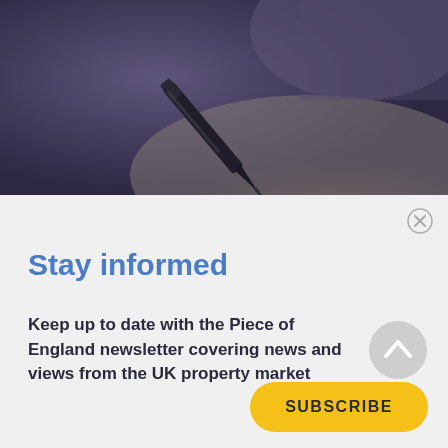[Figure (photo): Close-up photo of a pen writing on paper, dark muted tones with bluish-grey overlay]
Stay informed
Keep up to date with the Piece of England newsletter covering news and views from the UK property market